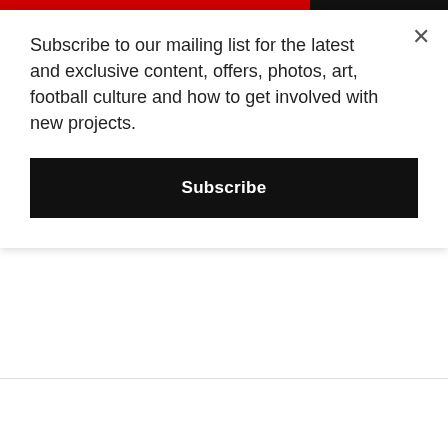Subscribe to our mailing list for the latest and exclusive content, offers, photos, art, football culture and how to get involved with new projects.
Subscribe